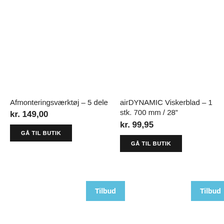Afmonteringsværktøj – 5 dele
kr. 149,00
GÅ TIL BUTIK
airDYNAMIC Viskerblad – 1 stk. 700 mm / 28"
kr. 99,95
GÅ TIL BUTIK
Tilbud
Tilbud